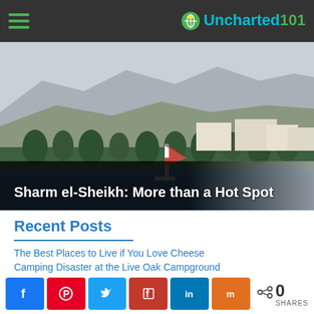Uncharted101
[Figure (photo): Coastal scene at Sharm el-Sheikh with mountains in background, palm trees, waterfront buildings, and a sailboat with red and white stripes]
Sharm el-Sheikh: More than a Hot Spot
Recent Posts
The Best Places to Live if You Love Cheese
Camping Disaster at the Live Oak Campground
A Visit to the Badlands National Park
Hiking Across the Border into Vermont